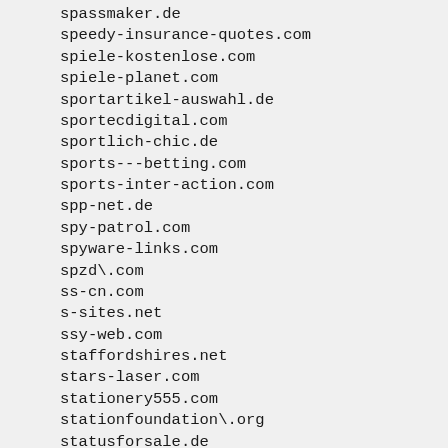spassmaker.de
speedy-insurance-quotes.com
spiele-kostenlose.com
spiele-planet.com
sportartikel-auswahl.de
sportecdigital.com
sportlich-chic.de
sports---betting.com
sports-inter-action.com
spp-net.de
spy-patrol.com
spyware-links.com
spzd\.com
ss-cn.com
s-sites.net
ssy-web.com
staffordshires.net
stars-laser.com
stationery555.com
stationfoundation\.org
statusforsale.de
steel168.com
steelstockholder.co.uk
stellenangebote-checken.de
stellenangebote-l.de